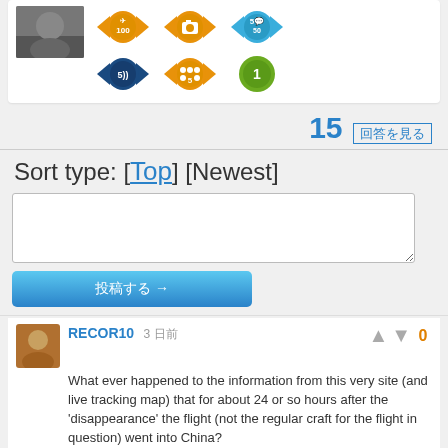[Figure (screenshot): User profile badges section showing 6 achievement badges: orange wings with 100, orange camera badge, blue speech bubble badge with 50/5, dark blue wings badge with 5, orange dotted badge with 5, green circle badge with 1]
15 [Chinese characters]
Sort type: [Top] [Newest]
[Figure (screenshot): Comment text input box (empty textarea)]
[Figure (screenshot): Blue submit button with Japanese/Chinese text and arrow]
RECOR10  3 [Chinese characters]  0
What ever happened to the information from this very site (and live tracking map) that for about 24 or so hours after the 'disappearance' the flight (not the regular craft for the flight in question) went into China?

All of us here are smart enough to see that the craft in question had never taken that route before... no day prior (and